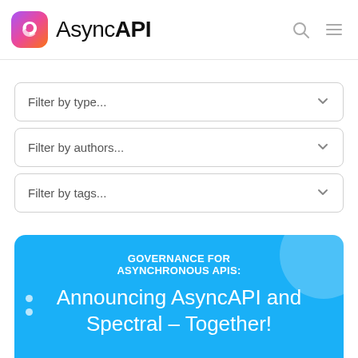AsyncAPI
Filter by type...
Filter by authors...
Filter by tags...
[Figure (screenshot): Blog post card with blue background. Subtitle: GOVERNANCE FOR ASYNCHRONOUS APIS: Title: Announcing AsyncAPI and Spectral – Together!]